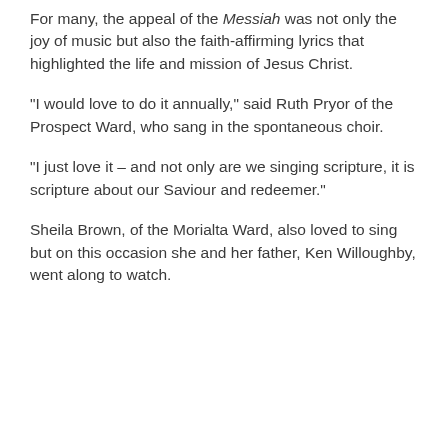For many, the appeal of the Messiah was not only the joy of music but also the faith-affirming lyrics that highlighted the life and mission of Jesus Christ.
“I would love to do it annually,” said Ruth Pryor of the Prospect Ward, who sang in the spontaneous choir.
“I just love it – and not only are we singing scripture, it is scripture about our Saviour and redeemer.”
Sheila Brown, of the Morialta Ward, also loved to sing but on this occasion she and her father, Ken Willoughby, went along to watch.